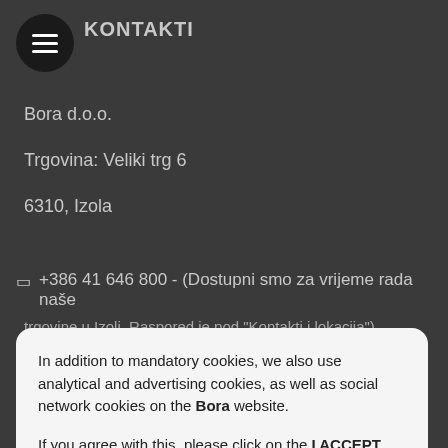KONTAKTI
Bora d.o.o.
Trgovina: Veliki trg 6
6310, Izola
+386 41 646 800 - (Dostupni smo za vrijeme rada naše trgovine u Izoli. Raspored je pod "Kontakti i lokacija")
In addition to mandatory cookies, we also use analytical and advertising cookies, as well as social network cookies on the Bora website.
If you agree with this, please click on the I ACCEPT button. For a detailed description and in order to set the use of individual cookies, click on the COOKIE SETTINGS link.
POTVRĐUJEM
Postavke kolačića